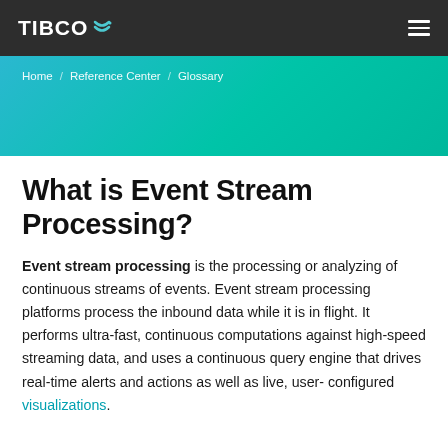TIBCO
Home / Reference Center / Glossary
What is Event Stream Processing?
Event stream processing is the processing or analyzing of continuous streams of events. Event stream processing platforms process the inbound data while it is in flight. It performs ultra-fast, continuous computations against high-speed streaming data, and uses a continuous query engine that drives real-time alerts and actions as well as live, user-configured visualizations.